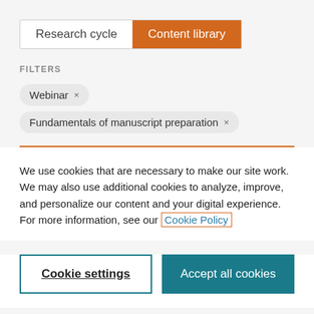[Figure (screenshot): Tab navigation bar with 'Research cycle' (inactive) and 'Content library' (active, orange background) tabs]
FILTERS
Webinar ×
Fundamentals of manuscript preparation ×
We use cookies that are necessary to make our site work. We may also use additional cookies to analyze, improve, and personalize our content and your digital experience. For more information, see our Cookie Policy
Cookie settings
Accept all cookies